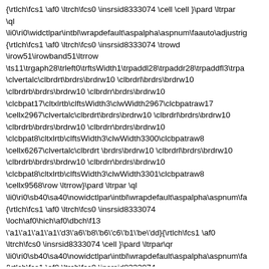{\rtlch\fcs1 \af0 \ltrch\fcs0 \insrsid8333074 \cell \cell }\pard \ltrpar \ql \li0\ri0\widctlpar\intbl\wrapdefault\aspalpha\aspnum\faauto\adjustrig {\rtlch\fcs1 \af0 \ltrch\fcs0 \insrsid8333074 \trowd \irow51\irowband51\ltrrow \ts11\trgaph28\trleft0\trftsWidth1\trpaddl28\trpaddr28\trpaddfl3\trpaddfl3\clvertalc\clbrdrt\brdrs\brdrw10 \clbrdrl\brdrs\brdrw10 \clbrdrb\brdrs\brdrw10 \clbrdrr\brdrs\brdrw10 \clcbpat17\cltxlrtb\clftsWidth3\clwWidth2967\clcbpatraw17 \cellx2967\clvertalc\clbrdrt\brdrs\brdrw10 \clbrdrl\brdrs\brdrw10 \clbrdrb\brdrs\brdrw10 \clbrdrr\brdrs\brdrw10 \clcbpat8\cltxlrtb\clftsWidth3\clwWidth3300\clcbpatraw8 \cellx6267\clvertalc\clbrdrt \brdrs\brdrw10 \clbrdrl\brdrs\brdrw10 \clbrdrb\brdrs\brdrw10 \clbrdrr\brdrs\brdrw10 \clcbpat8\cltxlrtb\clftsWidth3\clwWidth3301\clcbpatraw8 \cellx9568\row \ltrrow}\pard \ltrpar \ql \li0\ri0\sb40\sa40\nowidctlpar\intbl\wrapdefault\aspalpha\aspnum\fa {\rtlch\fcs1 \af0 \ltrch\fcs0 \insrsid8333074 \loch\af0\hich\af0\dbch\f13 \'a1\'a1\'a1\'a1\'d3\'a6\'b8\'b6\'c6\'b1\'be\'dd}{\rtlch\fcs1 \af0 \ltrch\fcs0 \insrsid8333074 \cell }\pard \ltrpar\qr \li0\ri0\sb40\sa40\nowidctlpar\intbl\wrapdefault\aspalpha\aspnum\fa {\rtlch\fcs1 \af0 \ltrch\fcs0 \insrsid8333074 \hich\af0\dbch\af13\loch\f0 3,953,238,073.31\cell \hich\af0\dbch\af13\loch\f0 3,679,687,169.71\cell }\pard \ltrpar\ql